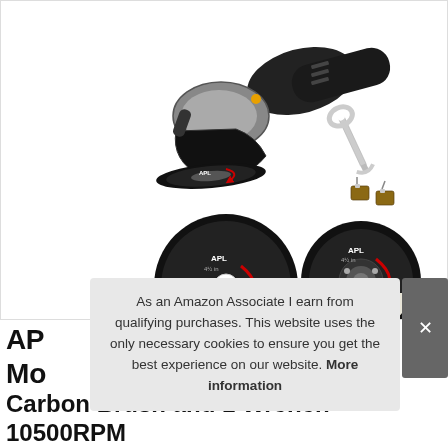[Figure (photo): Angle grinder product photo showing: angle grinder tool with cutting disc attached, a wrench accessory, two carbon brushes, and two APL brand cutting discs (one flat, one depressed center), all on white background.]
As an Amazon Associate I earn from qualifying purchases. This website uses the only necessary cookies to ensure you get the best experience on our website. More information
AP... Mo... Carbon Brush and 1 Wrench 10500RPM...